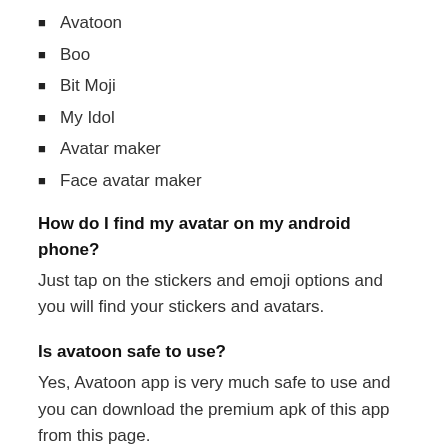Avatoon
Boo
Bit Moji
My Idol
Avatar maker
Face avatar maker
How do I find my avatar on my android phone?
Just tap on the stickers and emoji options and you will find your stickers and avatars.
Is avatoon safe to use?
Yes, Avatoon app is very much safe to use and you can download the premium apk of this app from this page.